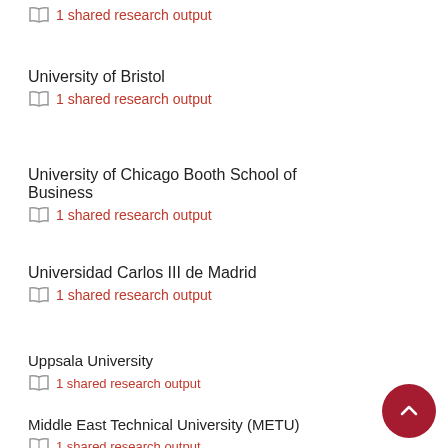1 shared research output
University of Bristol
1 shared research output
University of Chicago Booth School of Business
1 shared research output
Universidad Carlos III de Madrid
1 shared research output
Uppsala University
1 shared research output
Middle East Technical University (METU)
1 shared research output